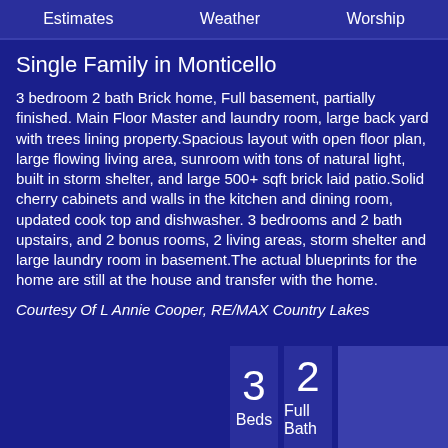Estimates   Weather   Worship
Single Family in Monticello
3 bedroom 2 bath Brick home, Full basement, partially finished. Main Floor Master and laundry room, large back yard with trees lining property.Spacious layout with open floor plan, large flowing living area, sunroom with tons of natural light, built in storm shelter, and large 500+ sqft brick laid patio.Solid cherry cabinets and walls in the kitchen and dining room, updated cook top and dishwasher. 3 bedrooms and 2 bath upstairs, and 2 bonus rooms, 2 living areas, storm shelter and large laundry room in basement.The actual blueprints for the home are still at the house and transfer with the home.
Courtesy Of L Annie Cooper, RE/MAX Country Lakes
3 Beds
2 Full Bath